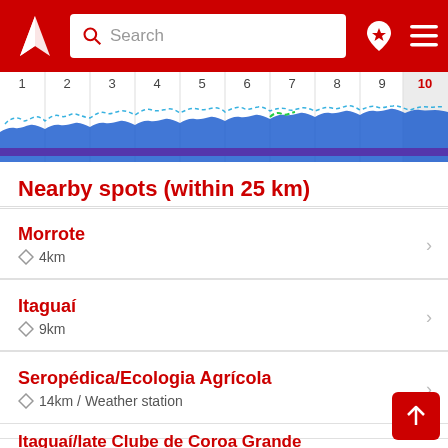Search bar with Windy logo, location and menu icons
[Figure (continuous-plot): Wind/wave forecast strip showing days 1-10 with wave height profiles in blue/cyan/green colors. Day 10 is highlighted in red and has a gray background.]
Nearby spots (within 25 km)
Morrote
◇ 4km
Itaguaí
◇ 9km
Seropédica/Ecologia Agrícola
◇ 14km / Weather station
Itaguaí/Iate Clube de Coroa Grande
◇ 15km